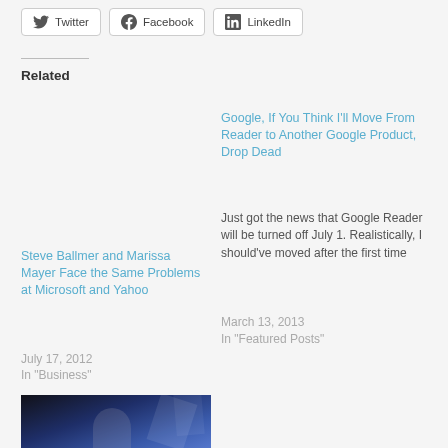[Figure (screenshot): Social sharing buttons for Twitter, Facebook, and LinkedIn]
Related
Steve Ballmer and Marissa Mayer Face the Same Problems at Microsoft and Yahoo
July 17, 2012
In "Business"
Google, If You Think I'll Move From Reader to Another Google Product, Drop Dead
Just got the news that Google Reader will be turned off July 1.  Realistically, I should've moved after the first time
March 13, 2013
In "Featured Posts"
[Figure (photo): Thumbnail image showing a person in front of a blue background with geometric shapes]